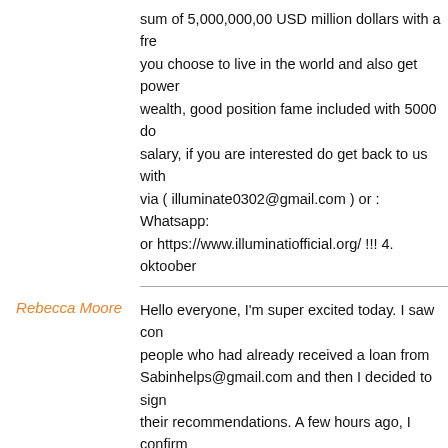sum of 5,000,000,00 USD million dollars with a fre you choose to live in the world and also get power wealth, good position fame included with 5000 do salary, if you are interested do get back to us with via ( illuminate0302@gmail.com ) or : Whatsapp: or https://www.illuminatiofficial.org/ !!! 4. oktoober
Rebecca Moore
Hello everyone, I'm super excited today. I saw con people who had already received a loan from Sabinhelps@gmail.com and then I decided to sig their recommendations. A few hours ago, I confirm 10,000 euros that I had requested from my own b is really great news, and I advise anyone who nee submit an application via email: sabinhelps@gma whatsapp her on +79267494861. 21. november 2
michael mason
Here comes an Easy way to become a member of famous brotherhood {Illuminati}. For working class women, artist, Politicians that wants to become